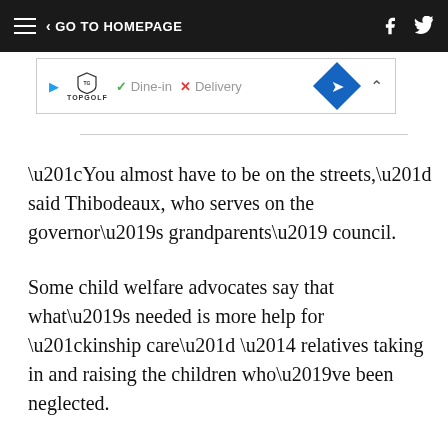< GO TO HOMEPAGE
[Figure (screenshot): Advertisement banner: Topgolf logo with play button, checkmark Dine-in, X Delivery, blue diamond arrow icon, and caret/close controls]
“You almost have to be on the streets,” said Thibodeaux, who serves on the governor’s grandparents’ council.
Some child welfare advocates say that what’s needed is more help for “kinship care” — relatives taking in and raising the children who’ve been neglected.
“Everyone agrees that kinship care is the right thing, but the rules are, you know, far from it,” said